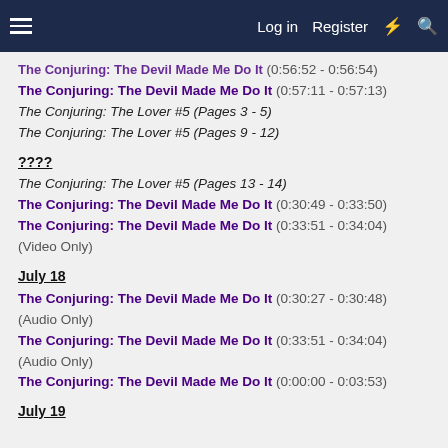Log in  Register
The Conjuring: The Devil Made Me Do It (0:56:52 - 0:56:54)
The Conjuring: The Devil Made Me Do It (0:57:11 - 0:57:13)
The Conjuring: The Lover #5 (Pages 3 - 5)
The Conjuring: The Lover #5 (Pages 9 - 12)
????
The Conjuring: The Lover #5 (Pages 13 - 14)
The Conjuring: The Devil Made Me Do It (0:30:49 - 0:33:50)
The Conjuring: The Devil Made Me Do It (0:33:51 - 0:34:04) (Video Only)
July 18
The Conjuring: The Devil Made Me Do It (0:30:27 - 0:30:48) (Audio Only)
The Conjuring: The Devil Made Me Do It (0:33:51 - 0:34:04) (Audio Only)
The Conjuring: The Devil Made Me Do It (0:00:00 - 0:03:53)
July 19